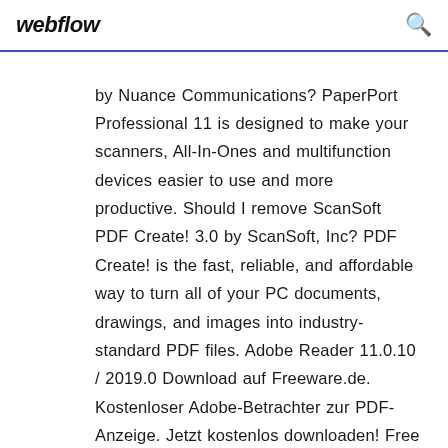webflow
by Nuance Communications? PaperPort Professional 11 is designed to make your scanners, All-In-Ones and multifunction devices easier to use and more productive. Should I remove ScanSoft PDF Create! 3.0 by ScanSoft, Inc? PDF Create! is the fast, reliable, and affordable way to turn all of your PC documents, drawings, and images into industry-standard PDF files. Adobe Reader 11.0.10 / 2019.0 Download auf Freeware.de. Kostenloser Adobe-Betrachter zur PDF-Anzeige. Jetzt kostenlos downloaden! Free Video Converter 2.0 Download auf Freeware.de. Kostenloser Videokonverter für AVI, MP4, WMV und Flash. Jetzt kostenlos downloaden!